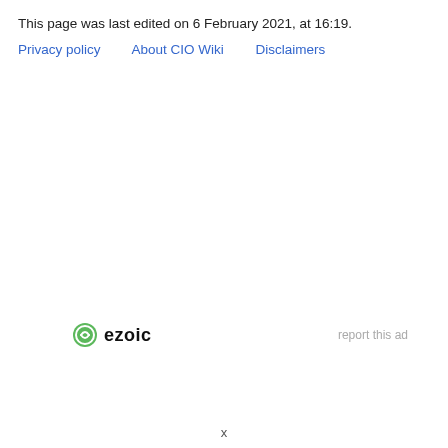This page was last edited on 6 February 2021, at 16:19.
Privacy policy    About CIO Wiki    Disclaimers
[Figure (logo): Ezoic logo with green circular icon and bold text 'ezoic', alongside 'report this ad' text in light gray]